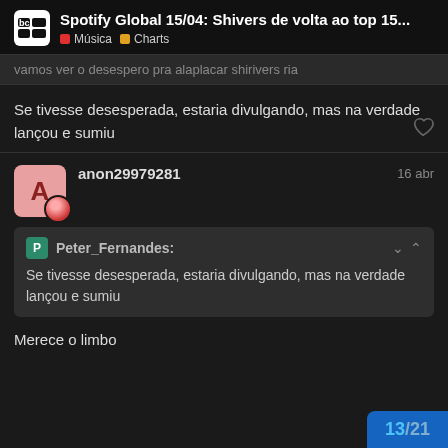Spotify Global 15/04: Shivers de volta ao top 15... | Música | Charts
vamos ver o desespero pra alaplacar shirivers ria
Se tivesse desesperada, estaria divulgando, mas na verdade lançou e sumiu
anon29979281 — 16 abr
Peter_Fernandes: Se tivesse desesperada, estaria divulgando, mas na verdade lançou e sumiu
Merece o limbo
13 / 21